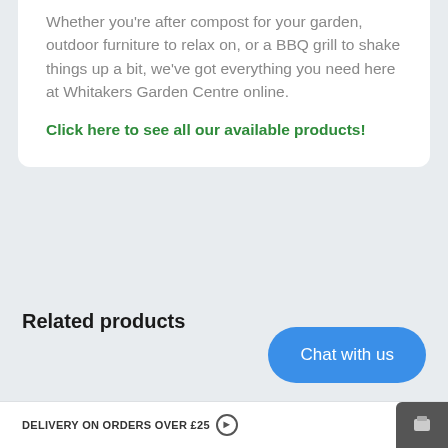Whether you're after compost for your garden, outdoor furniture to relax on, or a BBQ grill to shake things up a bit, we've got everything you need here at Whitakers Garden Centre online.
Click here to see all our available products!
Related products
Chat with us
DELIVERY ON ORDERS OVER £25